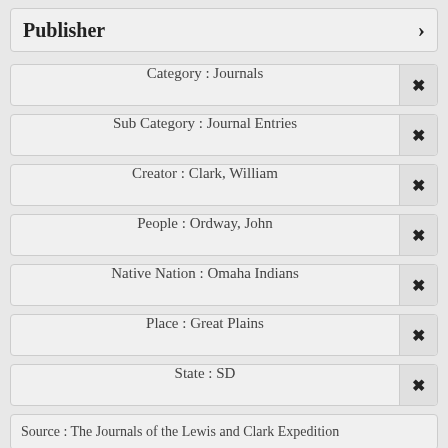Publisher
Category : Journals
Sub Category : Journal Entries
Creator : Clark, William
People : Ordway, John
Native Nation : Omaha Indians
Place : Great Plains
State : SD
Source : The Journals of the Lewis and Clark Expedition